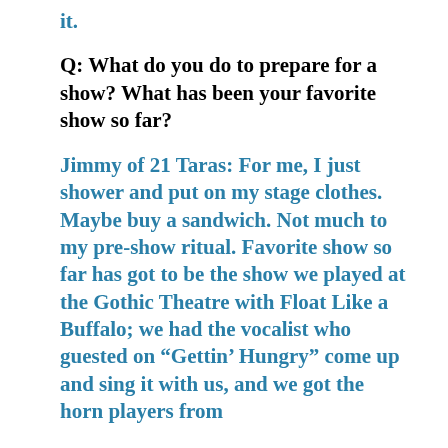it.
Q: What do you do to prepare for a show? What has been your favorite show so far?
Jimmy of 21 Taras: For me, I just shower and put on my stage clothes. Maybe buy a sandwich. Not much to my pre-show ritual. Favorite show so far has got to be the show we played at the Gothic Theatre with Float Like a Buffalo; we had the vocalist who guested on “Gettin’ Hungry” come up and sing it with us, and we got the horn players from